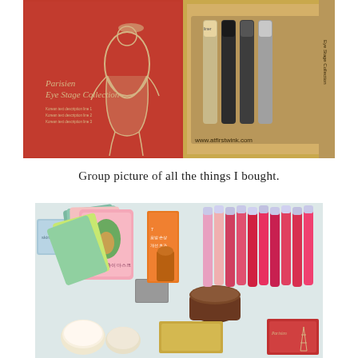[Figure (photo): Open cosmetics gift box showing a red booklet labeled 'Parisien Eye Stage Collection' with a fashion illustration on the left, and eyeliner/eye pencil products in a gold box on the right, with text 'www.atfirstwink.com' visible.]
Group picture of all the things I bought.
[Figure (photo): Group photo of various Korean beauty products including face masks (avocado mask packets in pink and green), hair oil serum box, a brown jar, multiple lip tint/gloss tubes in red and pink shades, small boxed items, and other skincare products arranged together.]